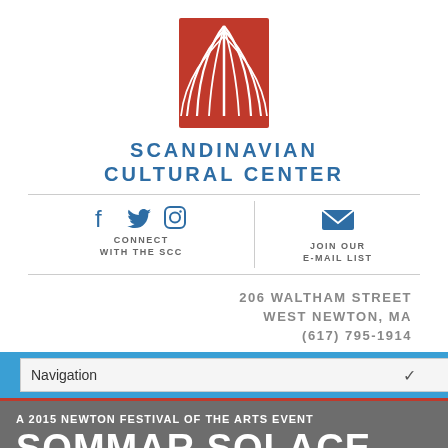[Figure (logo): Scandinavian Cultural Center red logo with stylized tree/arch design]
SCANDINAVIAN
CULTURAL CENTER
[Figure (infographic): Social media icons: Facebook, Twitter, Instagram with CONNECT WITH THE SCC label; Envelope icon with JOIN OUR E-MAIL LIST label]
206 WALTHAM STREET
WEST NEWTON, MA
(617) 795-1914
Navigation
A 2015 NEWTON FESTIVAL OF THE ARTS EVENT
SOMMAR SOLACE
Artist Anna Kristina Goransson and musician